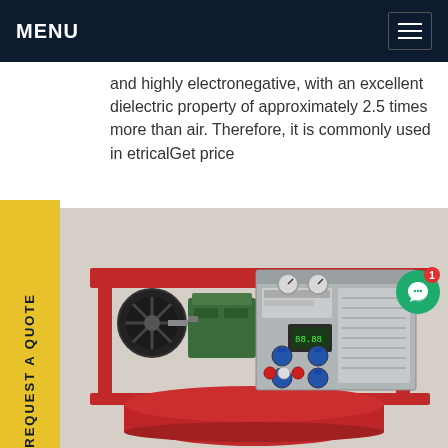MENU
and highly electronegative, with an excellent dielectric property of approximately 2.5 times more than air. Therefore, it is commonly used in etricalGet price
REQUEST A QUOTE
[Figure (photo): Industrial SF6 gas handling / compressor equipment mounted on a red steel frame, showing motor with fan, green compressor body, grey control panel with gauges, pressure gauges, digital display, blue valves, and red cylindrical tank underneath.]